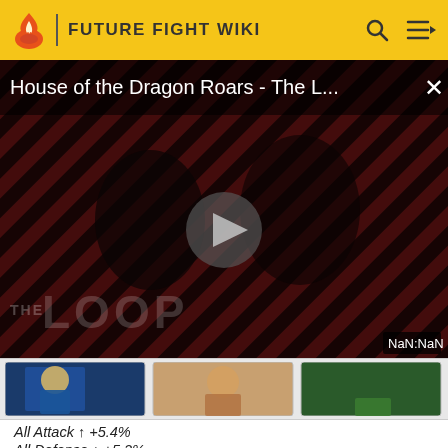FUTURE FIGHT WIKI
[Figure (screenshot): Video player showing 'House of the Dragon Roars - The L...' with a play button in the center, diagonal stripe background pattern, 'THE LOOP' branding watermark, close (x) button, and NaN:NaN time display badge.]
[Figure (screenshot): Character portrait strip showing three game character thumbnails side by side.]
All Attack ↑ +5.4%
All Defense ↑ +5.2%
Ignore Defense 4.7%